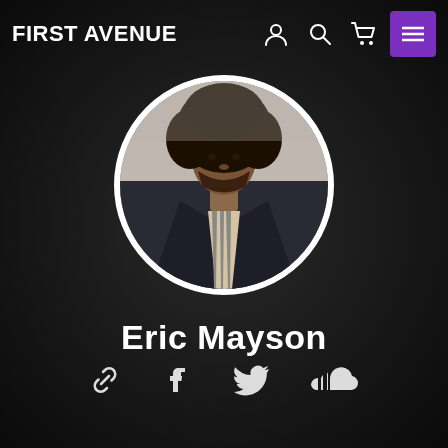FIRST AVENUE
[Figure (photo): Circular profile photo of Eric Mayson, a man with large afro hair wearing a dark jacket with striped scarf/tie, against a light background. The photo is displayed in a circular crop with white border, set against a dark/black background.]
Eric Mayson
[Figure (infographic): Social media icons row: link/chain icon, Facebook icon, Twitter bird icon, SoundCloud icon — all in white on dark background]